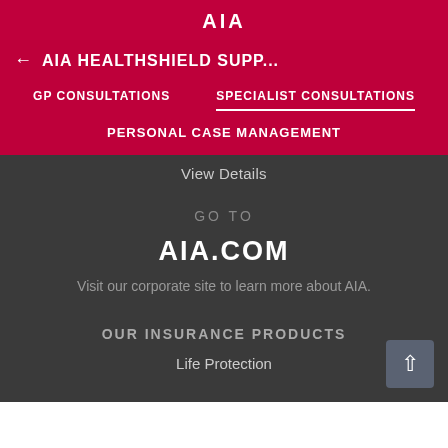AIA
← AIA HEALTHSHIELD SUPP...
GP CONSULTATIONS
SPECIALIST CONSULTATIONS
PERSONAL CASE MANAGEMENT
View Details
GO TO
AIA.COM
Visit our corporate site to learn more about AIA.
OUR INSURANCE PRODUCTS
Life Protection